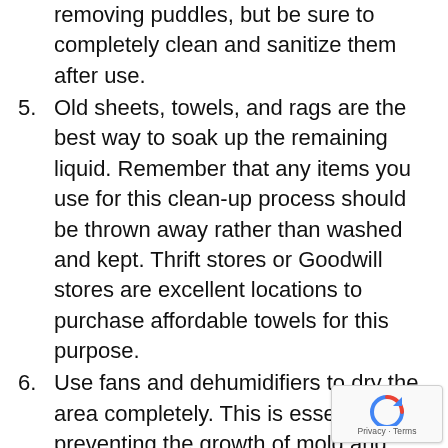(continued) removing puddles, but be sure to completely clean and sanitize them after use.
5. Old sheets, towels, and rags are the best way to soak up the remaining liquid. Remember that any items you use for this clean-up process should be thrown away rather than washed and kept. Thrift stores or Goodwill stores are excellent locations to purchase affordable towels for this purpose.
6. Use fans and dehumidifiers to dry the area completely. This is essential to preventing the growth of mold and mildew.
7. Sort through any items that were contaminated by the sewage. Anything that absorbed sewage should be thrown away. This includes soft flooring like carpet and rugs, wood or particle board furniture, anything made of fabric. While you might think that some of these items can be